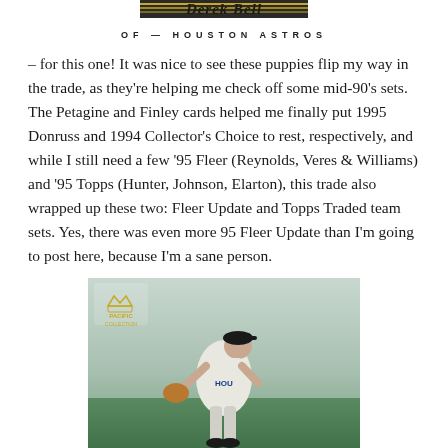[Figure (photo): Top of a baseball card showing 'Derek Bell OF—Houston Astros' text with decorative border]
– for this one! It was nice to see these puppies flip my way in the trade, as they're helping me check off some mid-90's sets. The Petagine and Finley cards helped me finally put 1995 Donruss and 1994 Collector's Choice to rest, respectively, and while I still need a few '95 Fleer (Reynolds, Veres & Williams) and '95 Topps (Hunter, Johnson, Elarton), this trade also wrapped up these two: Fleer Update and Topps Traded team sets. Yes, there was even more 95 Fleer Update than I'm going to post here, because I'm a sane person.
[Figure (photo): Pacific Collection baseball card showing a baseball player in white Houston uniform fielding, with Pacific Collections crown logo in upper left corner]